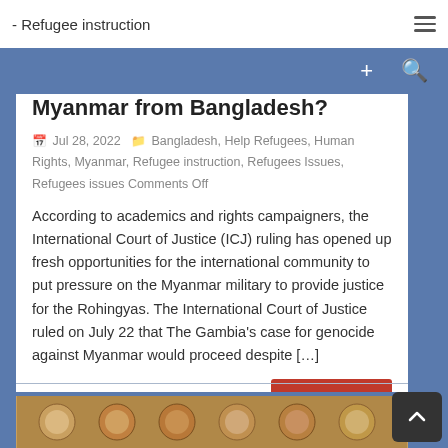- Refugee instruction
of Rohingya Repatriation in Myanmar from Bangladesh?
Jul 28, 2022  Bangladesh, Help Refugees, Human Rights, Myanmar, Refugee instruction, Refugees Issues, Refugees issues Comments Off
According to academics and rights campaigners, the International Court of Justice (ICJ) ruling has opened up fresh opportunities for the international community to put pressure on the Myanmar military to provide justice for the Rohingyas. The International Court of Justice ruled on July 22 that The Gambia's case for genocide against Myanmar would proceed despite […]
Read More
[Figure (photo): Bottom image strip showing a row of people's faces or crowd scene]